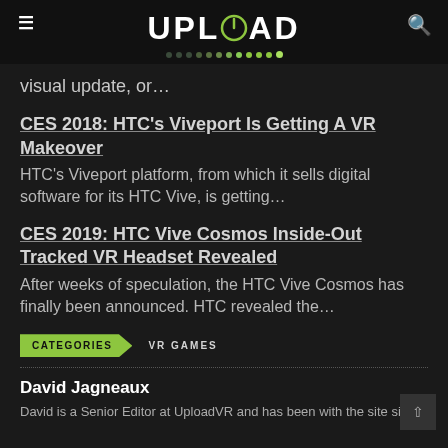UPLOAD
visual update, or...
CES 2018: HTC's Viveport Is Getting A VR Makeover
HTC's Viveport platform, from which it sells digital software for its HTC Vive, is getting...
CES 2019: HTC Vive Cosmos Inside-Out Tracked VR Headset Revealed
After weeks of speculation, the HTC Vive Cosmos has finally been announced. HTC revealed the...
CATEGORIES   VR GAMES
David Jagneaux
David is a Senior Editor at UploadVR and has been with the site since